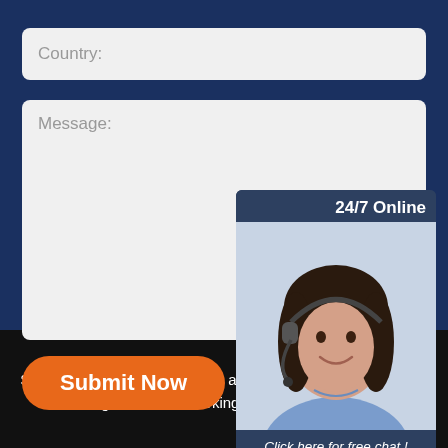Country:
Message:
24/7 Online
Click here for free chat !
QUOTATION
Submit Now
Sitemap | dth rock drilling tools alaska | yfs guide rod ranked | guide button working remote supplier